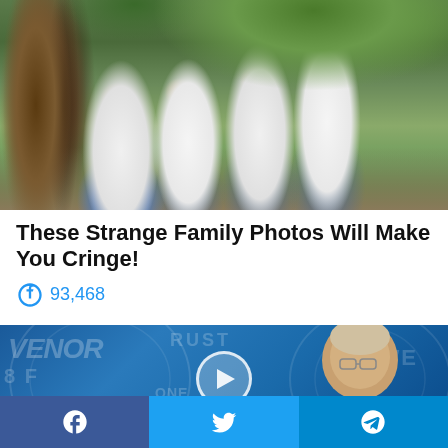[Figure (photo): Family photo of four people (two adults and two young men) wearing matching white shirts and blue jeans, posing on or near a large tree with green foliage in background]
These Strange Family Photos Will Make You Cringe!
🔥 93,468
[Figure (photo): Thumbnail of an older man with glasses against a blue money/currency background with a play button overlay]
Facebook | Twitter | Telegram social share buttons